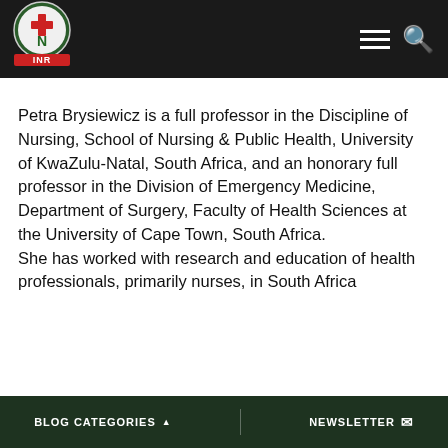[Figure (logo): INR (Institute for Nursing Research) logo: circular emblem with cross and letter N on red/green background, with 'INR' text beneath, on a dark header bar]
Petra Brysiewicz is a full professor in the Discipline of Nursing, School of Nursing & Public Health, University of KwaZulu-Natal, South Africa, and an honorary full professor in the Division of Emergency Medicine, Department of Surgery, Faculty of Health Sciences at the University of Cape Town, South Africa.
She has worked with research and education of health professionals, primarily nurses, in South Africa
BLOG CATEGORIES ▲    NEWSLETTER